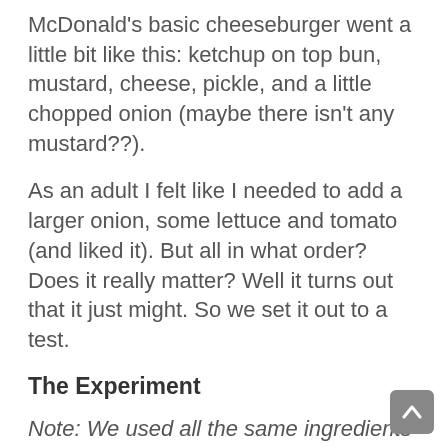McDonald's basic cheeseburger went a little bit like this: ketchup on top bun, mustard, cheese, pickle, and a little chopped onion (maybe there isn't any mustard??).
As an adult I felt like I needed to add a larger onion, some lettuce and tomato (and liked it). But all in what order? Does it really matter? Well it turns out that it just might. So we set it out to a test.
The Experiment
Note: We used all the same ingredients for each of three burgers that we tested. We used potato rolls, grass fed beef, classic American cheese, thinly sliced tomato, pickled red onion, fresh bread and butter